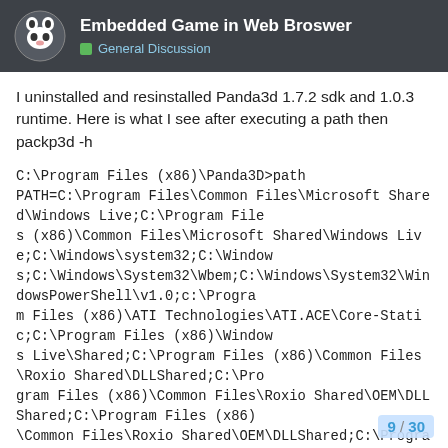Embedded Game in Web Broswer — General Discussion
I uninstalled and resinstalled Panda3d 1.7.2 sdk and 1.0.3 runtime. Here is what I see after executing a path then packp3d -h
C:\Program Files (x86)\Panda3D>path PATH=C:\Program Files\Common Files\Microsoft Shared\Windows Live;C:\Program Files (x86)\Common Files\Microsoft Shared\Windows Live;C:\Windows\system32;C:\Windows;C:\Windows\System32\Wbem;C:\Windows\System32\WindowsPowerShell\v1.0;c:\Program Files (x86)\ATI Technologies\ATI.ACE\Core-Static;C:\Program Files (x86)\Windows Live\Shared;C:\Program Files (x86)\Common Files\Roxio Shared\DLLShared;C:\Program Files (x86)\Common Files\Roxio Shared\OEM\DLLShared;C:\Program Files (x86)\Common Files\Roxio Shared\OEM\DLLShared;C:\Program